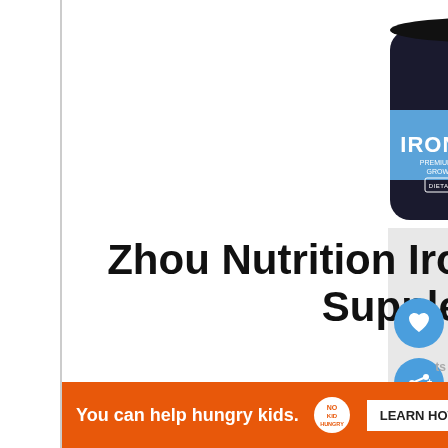[Figure (photo): Iron Beard premium beard & hair growth formula dietary supplement bottle — dark/black container with blue label band showing 'IRON BEARD™ PREMIUM BEARD & HAIR GROWTH FORMULA' and '60' count, shield logo on top]
Zhou Nutrition Iron Beard Growth Supplement
Pros:
Suitable for all hair types
[Figure (infographic): Ad banner: 'You can help hungry kids. NO KID HUNGRY LEARN HOW' on orange background with close X button]